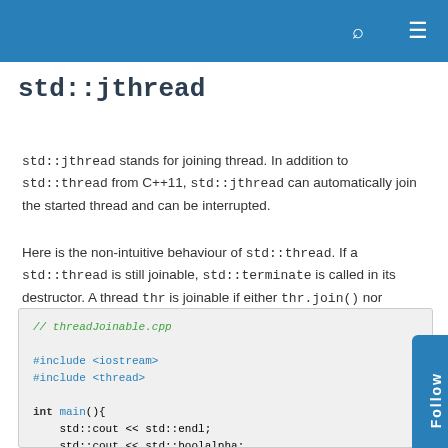std::jthread
std::jthread stands for joining thread. In addition to std::thread from C++11, std::jthread can automatically join the started thread and can be interrupted.
Here is the non-intuitive behaviour of std::thread. If a std::thread is still joinable, std::terminate is called in its destructor. A thread thr is joinable if either thr.join() nor thr.detach() was called.
[Figure (screenshot): C++ code block showing threadJoinable.cpp with includes for iostream and thread, and a main function demonstrating std::thread joinable behavior with std::cout statements.]